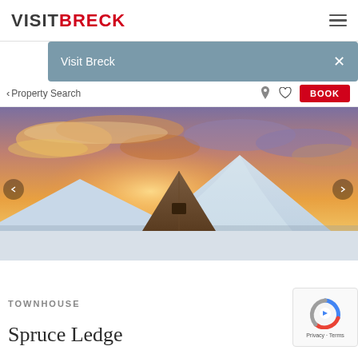VISITBRECK
Visit Breck
< Property Search  BOOK
[Figure (photo): Panoramic photo of a mountain lodge rooftop against a dramatic sunset sky with golden clouds, snow-covered peaks in the background, and snow-covered slopes.]
TOWNHOUSE
Spruce Ledge